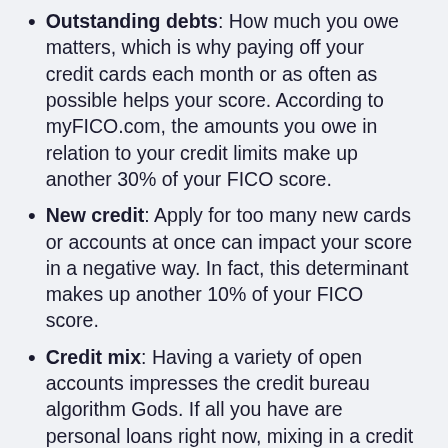Outstanding debts: How much you owe matters, which is why paying off your credit cards each month or as often as possible helps your score. According to myFICO.com, the amounts you owe in relation to your credit limits make up another 30% of your FICO score.
New credit: Apply for too many new cards or accounts at once can impact your score in a negative way. In fact, this determinant makes up another 10% of your FICO score.
Credit mix: Having a variety of open accounts impresses the credit bureau algorithm Gods. If all you have are personal loans right now, mixing in a credit card can help. If you already have four or five credit cards, it may be wise to back off a little.
Length of credit history: The length of your credit history also plays a role in your score.